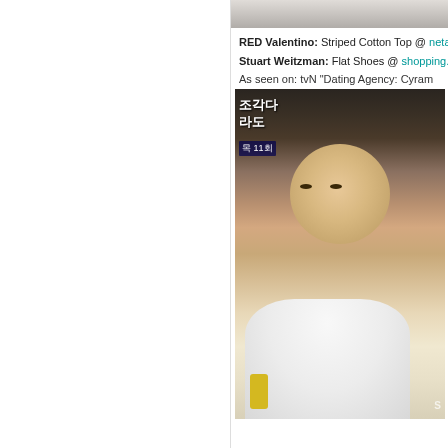[Figure (photo): Top strip of a photo, partially visible, light/grey tones at top]
RED Valentino: Striped Cotton Top @ netapo...
Stuart Weitzman: Flat Shoes @ shopping.na...
As seen on: tvN "Dating Agency: Cyram...
[Figure (photo): Korean actress in white top with yellow bag, Korean drama tvN 'Dating Agency: Cyrano', episode 11, with Korean text overlay 조각다/라도 and 11회 badge]